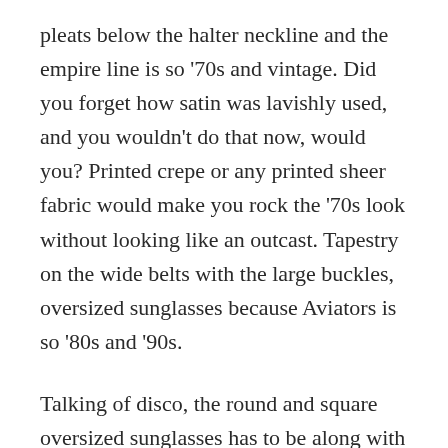pleats below the halter neckline and the empire line is so '70s and vintage. Did you forget how satin was lavishly used, and you wouldn't do that now, would you? Printed crepe or any printed sheer fabric would make you rock the '70s look without looking like an outcast. Tapestry on the wide belts with the large buckles, oversized sunglasses because Aviators is so '80s and '90s.
Talking of disco, the round and square oversized sunglasses has to be along with floral prints, bandanas, everything Denim look. Accessorizing was not a scarce option with jewelry in beads, metallic chokers, hoop earrings, rhinestones, and let me tell you how